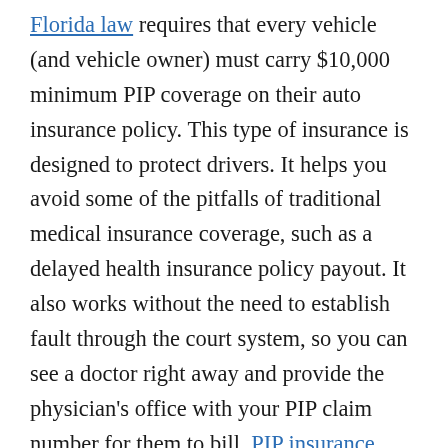Florida law requires that every vehicle (and vehicle owner) must carry $10,000 minimum PIP coverage on their auto insurance policy. This type of insurance is designed to protect drivers. It helps you avoid some of the pitfalls of traditional medical insurance coverage, such as a delayed health insurance policy payout. It also works without the need to establish fault through the court system, so you can see a doctor right away and provide the physician's office with your PIP claim number for them to bill. PIP insurance typically covers approximately 80 percent of medical expenses and/or 60 percent of lost wages due to an injury.  However, when